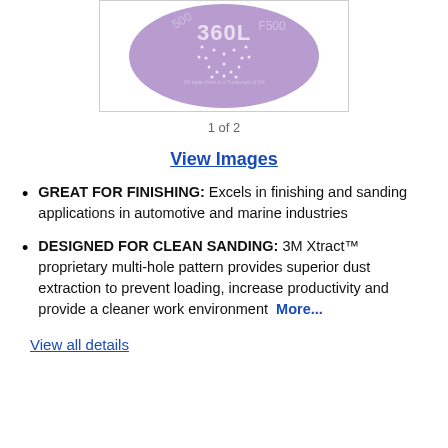[Figure (photo): Purple circular sanding disc labeled '360L' with F500 grit markings and a star-shaped multi-hole pattern for dust extraction.]
1 of 2
View Images
GREAT FOR FINISHING: Excels in finishing and sanding applications in automotive and marine industries
DESIGNED FOR CLEAN SANDING: 3M Xtract™ proprietary multi-hole pattern provides superior dust extraction to prevent loading, increase productivity and provide a cleaner work environment  More...
View all details